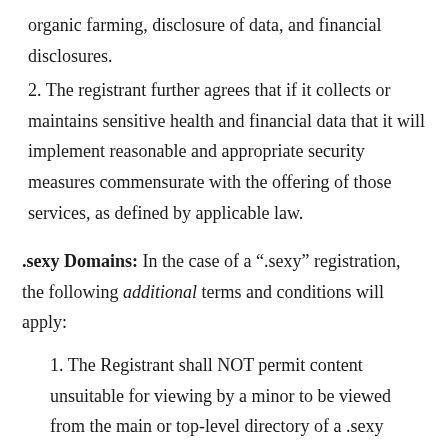organic farming, disclosure of data, and financial disclosures.
2. The registrant further agrees that if it collects or maintains sensitive health and financial data that it will implement reasonable and appropriate security measures commensurate with the offering of those services, as defined by applicable law.
.sexy Domains: In the case of a “.sexy” registration, the following additional terms and conditions will apply:
1. The Registrant shall NOT permit content unsuitable for viewing by a minor to be viewed from the main or top-level directory of a .sexy domain name. For purposes of clarity, content viewed at the main or top-level directory of a .sexy domain name is the content immediately visible if a user navigates to